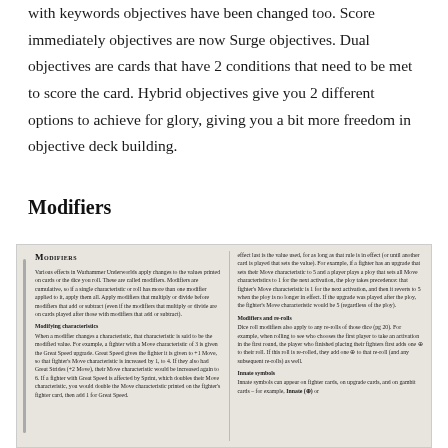with keywords objectives have been changed too. Score immediately objectives are now Surge objectives. Dual objectives are cards that have 2 conditions that need to be met to score the card. Hybrid objectives give you 2 different options to achieve for glory, giving you a bit more freedom in objective deck building.
Modifiers
[Figure (other): An inset box titled MODIFIERS describing various modifier rules in Warhammer Underworlds, covering modifying characteristics, modifiers and re-rolls, and innate symbols.]